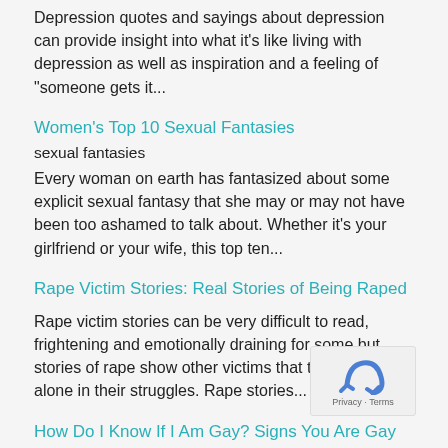Depression quotes and sayings about depression can provide insight into what it's like living with depression as well as inspiration and a feeling of "someone gets it...
Women's Top 10 Sexual Fantasies
sexual fantasies
Every woman on earth has fantasized about some explicit sexual fantasy that she may or may not have been too ashamed to talk about. Whether it's your girlfriend or your wife, this top ten...
Rape Victim Stories: Real Stories of Being Raped
Rape victim stories can be very difficult to read, frightening and emotionally draining for some but stories of rape show other victims that they are not alone in their struggles. Rape stories...
How Do I Know If I Am Gay? Signs You Are Gay